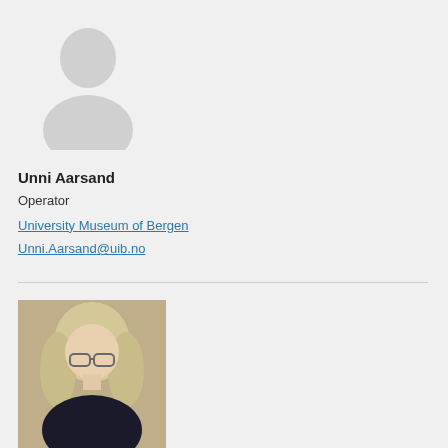[Figure (illustration): Generic placeholder avatar silhouette in light gray on a light background]
Unni Aarsand
Operator
University Museum of Bergen
Unni.Aarsand@uib.no
[Figure (photo): Portrait photograph of a middle-aged woman with long blonde/gray hair and glasses, wearing a black top, photographed indoors]